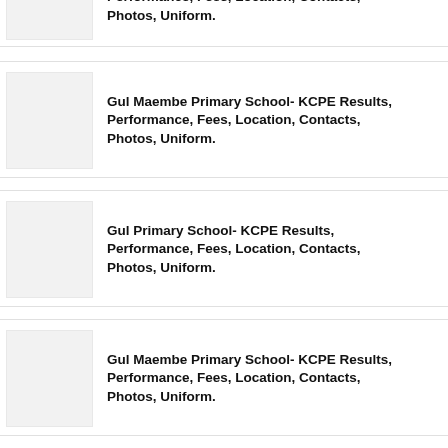Performance, Fees, Location, Contacts, Photos, Uniform.
Gul Maembe Primary School- KCPE Results, Performance, Fees, Location, Contacts, Photos, Uniform.
Gul Primary School- KCPE Results, Performance, Fees, Location, Contacts, Photos, Uniform.
Gul Maembe Primary School- KCPE Results, Performance, Fees, Location, Contacts, Photos, Uniform.
Green View Academy Primary School- Results, Performance, Fees, Location, Contacts, Photos, Uniform.